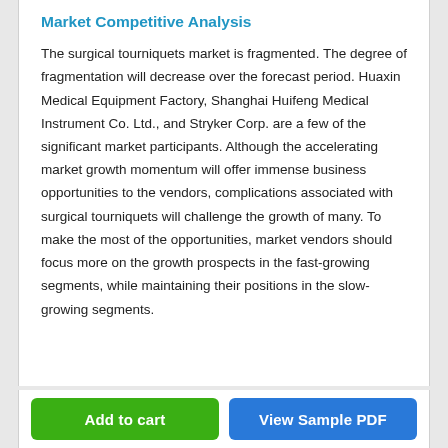Market Competitive Analysis
The surgical tourniquets market is fragmented. The degree of fragmentation will decrease over the forecast period. Huaxin Medical Equipment Factory, Shanghai Huifeng Medical Instrument Co. Ltd., and Stryker Corp. are a few of the significant market participants. Although the accelerating market growth momentum will offer immense business opportunities to the vendors, complications associated with surgical tourniquets will challenge the growth of many. To make the most of the opportunities, market vendors should focus more on the growth prospects in the fast-growing segments, while maintaining their positions in the slow-growing segments.